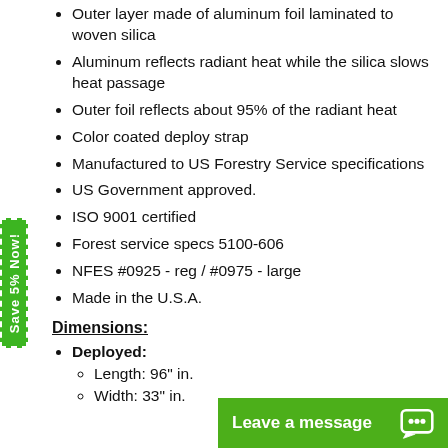Outer layer made of aluminum foil laminated to woven silica
Aluminum reflects radiant heat while the silica slows heat passage
Outer foil reflects about 95% of the radiant heat
Color coated deploy strap
Manufactured to US Forestry Service specifications
US Government approved.
ISO 9001 certified
Forest service specs 5100-606
NFES #0925 - reg / #0975 - large
Made in the U.S.A.
Dimensions:
Deployed:
Length: 96" in.
Width: 33" in.